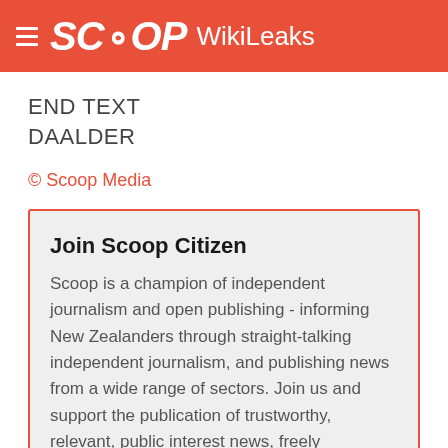SCOOP WikiLeaks
END TEXT
DAALDER
© Scoop Media
Join Scoop Citizen
Scoop is a champion of independent journalism and open publishing - informing New Zealanders through straight-talking independent journalism, and publishing news from a wide range of sectors. Join us and support the publication of trustworthy, relevant, public interest news, freely accessible to all New Zealanders: